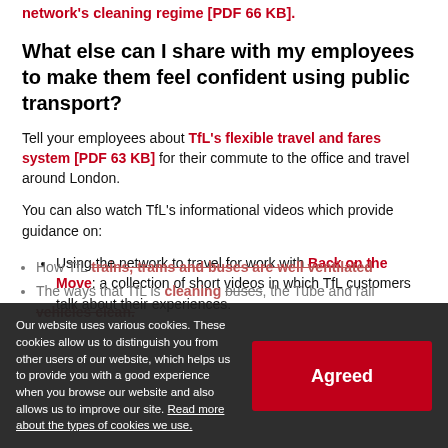network's cleaning regime [PDF 66 KB].
What else can I share with my employees to make them feel confident using public transport?
Tell your employees about TfL's flexible travel and fares system [PDF 63 KB] for their commute to the office and travel around London.
You can also watch TfL's informational videos which provide guidance on:
Using the network to travel for work with Back on the Move: a collection of short videos in which TfL customers talk about their experiences.
Our website uses various cookies. These cookies allow us to distinguish you from other users of our website, which helps us to provide you with a good experience when you browse our website and also allows us to improve our site. Read more about the types of cookies we use.